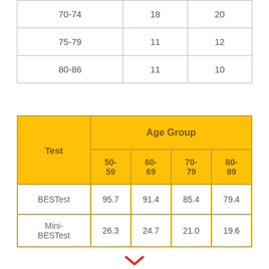| 70-74 | 18 | 20 |
| 75-79 | 11 | 12 |
| 80-86 | 11 | 10 |
|  | Age Group |  |  |  |
| --- | --- | --- | --- | --- |
| Test | 50-59 | 60-69 | 70-79 | 80-89 |
| BESTest | 95.7 | 91.4 | 85.4 | 79.4 |
| Mini-BESTest | 26.3 | 24.7 | 21.0 | 19.6 |